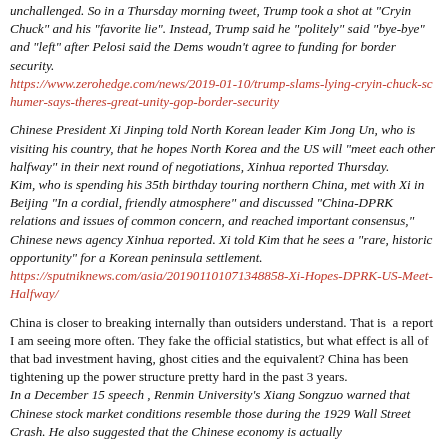unchallenged. So in a Thursday morning tweet, Trump took a shot at "Cryin Chuck" and his "favorite lie". Instead, Trump said he "politely" said "bye-bye" and "left" after Pelosi said the Dems woudn't agree to funding for border security. https://www.zerohedge.com/news/2019-01-10/trump-slams-lying-cryin-chuck-schumer-says-theres-great-unity-gop-border-security
Chinese President Xi Jinping told North Korean leader Kim Jong Un, who is visiting his country, that he hopes North Korea and the US will "meet each other halfway" in their next round of negotiations, Xinhua reported Thursday. Kim, who is spending his 35th birthday touring northern China, met with Xi in Beijing "In a cordial, friendly atmosphere" and discussed "China-DPRK relations and issues of common concern, and reached important consensus," Chinese news agency Xinhua reported. Xi told Kim that he sees a "rare, historic opportunity" for a Korean peninsula settlement. https://sputniknews.com/asia/201901101071348858-Xi-Hopes-DPRK-US-Meet-Halfway/
China is closer to breaking internally than outsiders understand. That is a report I am seeing more often. They fake the official statistics, but what effect is all of that bad investment having, ghost cities and the equivalent? China has been tightening up the power structure pretty hard in the past 3 years. In a December 15 speech , Renmin University's Xiang Songzuo warned that Chinese stock market conditions resemble those during the 1929 Wall Street Crash. He also suggested that the Chinese economy is actually